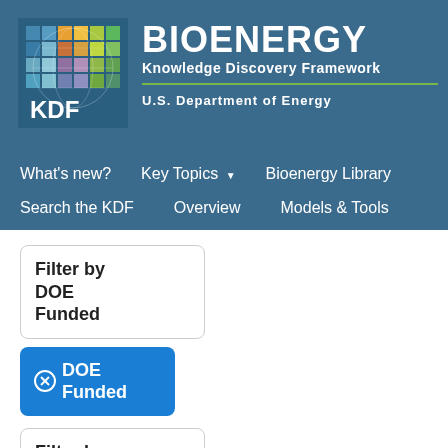[Figure (logo): KDF logo with colorful grid squares and KDF text in white]
BIOENERGY Knowledge Discovery Framework
U.S. DEPARTMENT OF ENERGY
What's new?  Key Topics  Bioenergy Library  Search the KDF  Overview  Models & Tools
Filter by DOE Funded
⊗ DOE Funded
Filter by Category